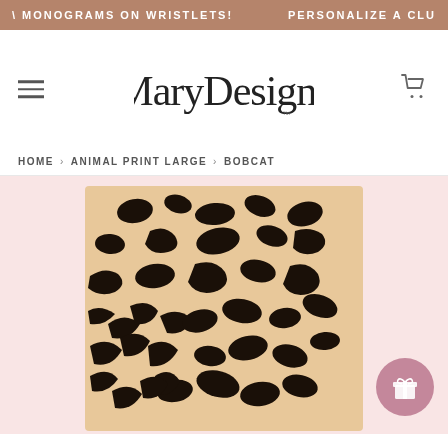MONOGRAMS ON WRISTLETS!   PERSONALIZE A CLU
[Figure (logo): MaryDesigns cursive script logo]
HOME › ANIMAL PRINT LARGE › BOBCAT
[Figure (photo): Bobcat animal print fabric pattern — beige/tan background with black irregular spots and swirl patterns]